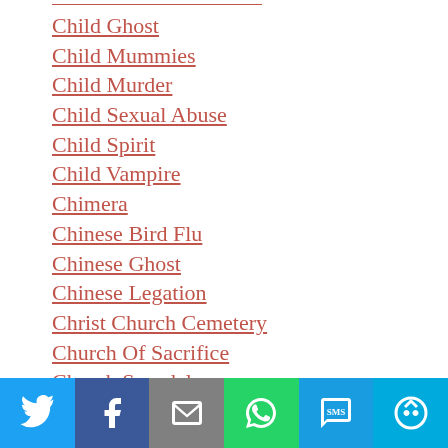Child Ghost
Child Mummies
Child Murder
Child Sexual Abuse
Child Spirit
Child Vampire
Chimera
Chinese Bird Flu
Chinese Ghost
Chinese Legation
Christ Church Cemetery
Church Of Sacrifice
Church Scandal
City Of Miami Cemetery
City Of Ur
Civil War Ghost
[Figure (other): Social sharing bar with icons for Twitter, Facebook, Email, WhatsApp, SMS, and More]